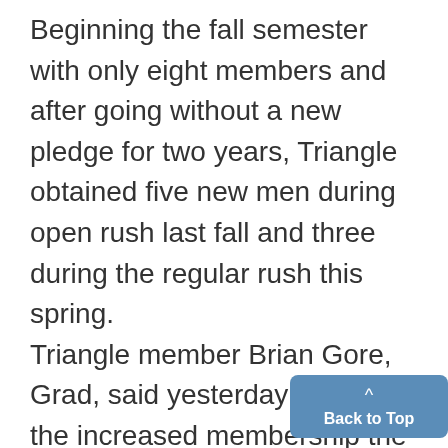Beginning the fall semester with only eight members and after going without a new pledge for two years, Triangle obtained five new men during open rush last fall and three during the regular rush this spring. Triangle member Brian Gore, Grad, said yesterday that with the increased membership the group will be looking for a larger house to move into next fall. In view of these considerations the executive committee tabled an